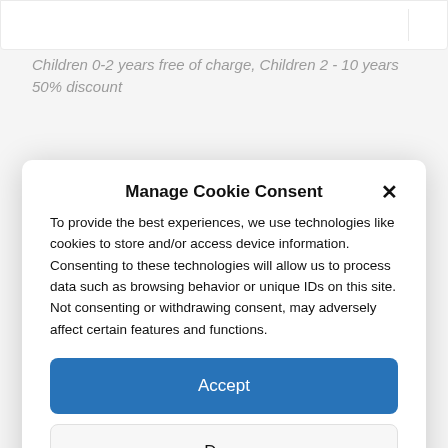Children 0-2 years free of charge, Children 2 - 10 years 50% discount
Manage Cookie Consent
To provide the best experiences, we use technologies like cookies to store and/or access device information. Consenting to these technologies will allow us to process data such as browsing behavior or unique IDs on this site. Not consenting or withdrawing consent, may adversely affect certain features and functions.
Accept
Deny
View preferences
Privacy Policy